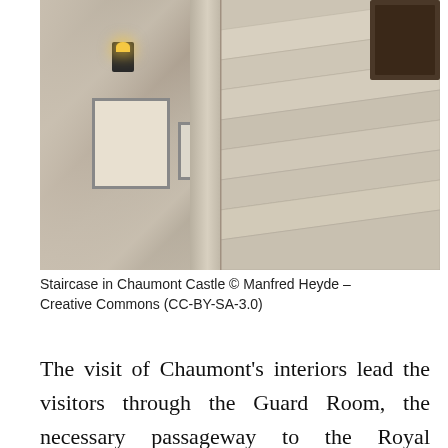[Figure (photo): Interior staircase of Chaumont Castle showing stone steps, a carved pillar, whitewashed stone walls with framed pictures, and a wall-mounted light fixture. The right side shows wide stone stairs leading upward.]
Staircase in Chaumont Castle © Manfred Heyde – Creative Commons (CC-BY-SA-3.0)
The visit of Chaumont's interiors lead the visitors through the Guard Room, the necessary passageway to the Royal Chamber